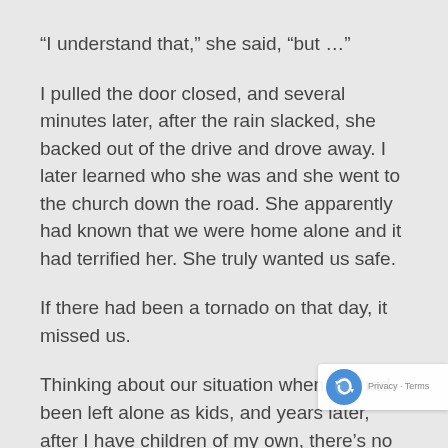“I understand that,” she said, “but …”
I pulled the door closed, and several minutes later, after the rain slacked, she backed out of the drive and drove away. I later learned who she was and she went to the church down the road. She apparently had known that we were home alone and it had terrified her. She truly wanted us safe.
If there had been a tornado on that day, it missed us.
Thinking about our situation when we had been left alone as kids, and years later, after I have children of my own, there’s no way I could ever have left children unattended. Regardless of how good a child might be, no one can predict what might